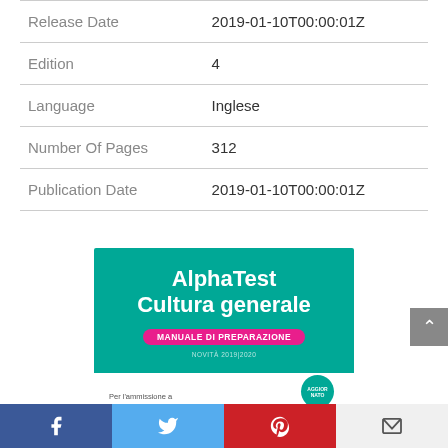|  |  |
| --- | --- |
| Release Date | 2019-01-10T00:00:01Z |
| Edition | 4 |
| Language | Inglese |
| Number Of Pages | 312 |
| Publication Date | 2019-01-10T00:00:01Z |
[Figure (illustration): Book cover for AlphaTest Cultura generale - Manuale di Preparazione, teal/green background with white bold title text, pink pill subtitle label, white bottom strip with 'Per l'ammissione a' text and a teal 'AGGIORNATO' circle badge.]